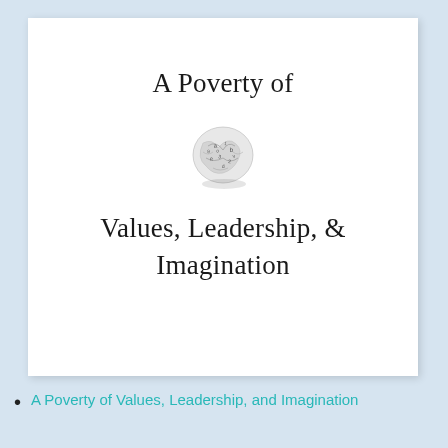A Poverty of Values, Leadership, & Imagination
[Figure (illustration): A small crumpled ball of paper with letters and numbers scattered across its surface, photographed on a white background.]
A Poverty of Values, Leadership, and Imagination